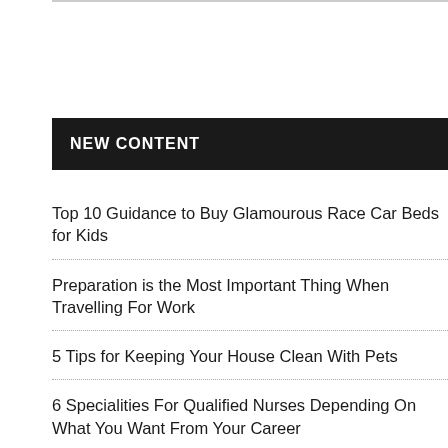NEW CONTENT
Top 10 Guidance to Buy Glamourous Race Car Beds for Kids
Preparation is the Most Important Thing When Travelling For Work
5 Tips for Keeping Your House Clean With Pets
6 Specialities For Qualified Nurses Depending On What You Want From Your Career
When Should You See a Physiotherapist?